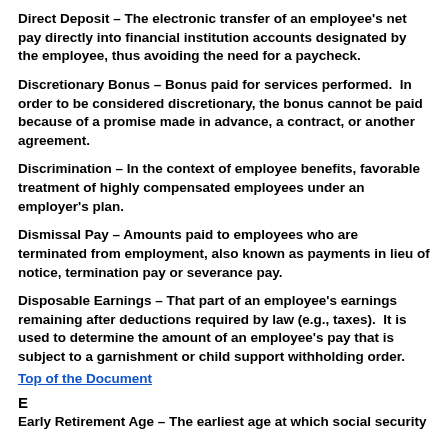Direct Deposit – The electronic transfer of an employee's net pay directly into financial institution accounts designated by the employee, thus avoiding the need for a paycheck.
Discretionary Bonus – Bonus paid for services performed. In order to be considered discretionary, the bonus cannot be paid because of a promise made in advance, a contract, or another agreement.
Discrimination – In the context of employee benefits, favorable treatment of highly compensated employees under an employer's plan.
Dismissal Pay – Amounts paid to employees who are terminated from employment, also known as payments in lieu of notice, termination pay or severance pay.
Disposable Earnings – That part of an employee's earnings remaining after deductions required by law (e.g., taxes). It is used to determine the amount of an employee's pay that is subject to a garnishment or child support withholding order.
Top of the Document
E
Early Retirement Age – The earliest age at which social security